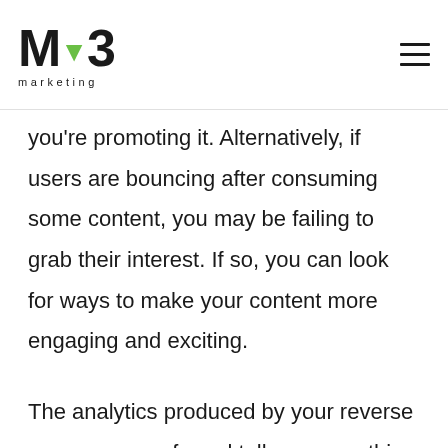MB marketing
you're promoting it. Alternatively, if users are bouncing after consuming some content, you may be failing to grab their interest. If so, you can look for ways to make your content more engaging and exciting.
The analytics produced by your reverse squeeze page funnel tell you everything you need to know to enhance your results, so be sure to analyze them carefully. Once you've